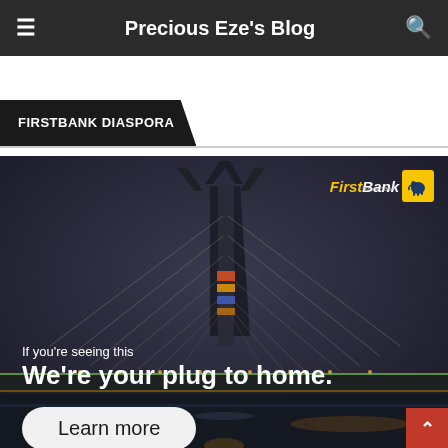Precious Eze's Blog
FIRSTBANK DIASPORA
[Figure (illustration): FirstBank Diaspora advertisement showing a bridge (likely Third Mainland Bridge Lagos) at night with text 'If you’re seeing this We’re your plug to home.' and a 'Learn more' button. FirstBank logo in upper right.]